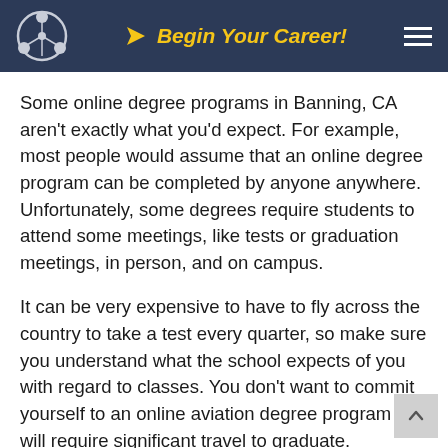Begin Your Career!
Some online degree programs in Banning, CA aren't exactly what you'd expect. For example, most people would assume that an online degree program can be completed by anyone anywhere. Unfortunately, some degrees require students to attend some meetings, like tests or graduation meetings, in person, and on campus.
It can be very expensive to have to fly across the country to take a test every quarter, so make sure you understand what the school expects of you with regard to classes. You don't want to commit yourself to an online aviation degree program that will require significant travel to graduate.
Know the Course Format for